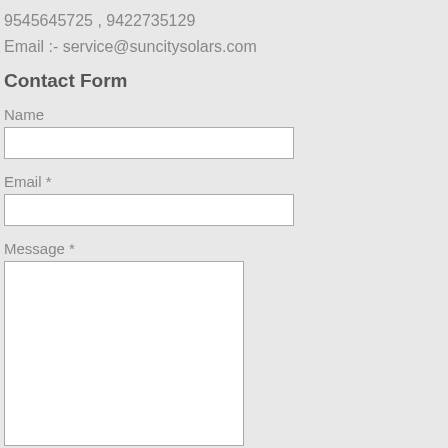9545645725 , 9422735129
Email :- service@suncitysolars.com
Contact Form
Name
Email *
Message *
Send
Follow Us On